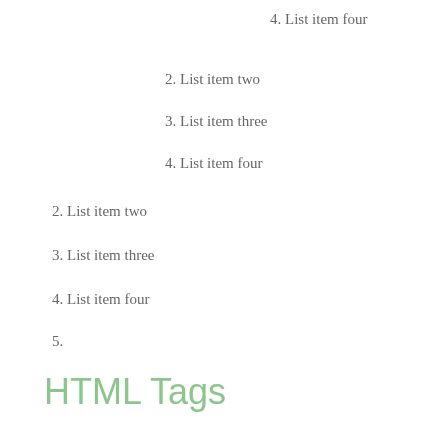4. List item four
2. List item two
3. List item three
4. List item four
2. List item two
3. List item three
4. List item four
5.
HTML Tags
These supported tags come from the WordPress.com code FAQ.
Address Tag
1 Infinite Loop